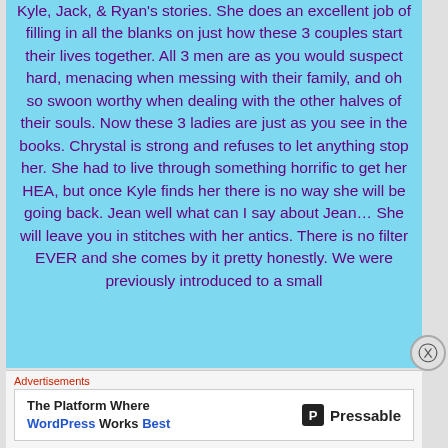Kyle, Jack, & Ryan's stories. She does an excellent job of filling in all the blanks on just how these 3 couples start their lives together. All 3 men are as you would suspect hard, menacing when messing with their family, and oh so swoon worthy when dealing with the other halves of their souls. Now these 3 ladies are just as you see in the books. Chrystal is strong and refuses to let anything stop her. She had to live through something horrific to get her HEA, but once Kyle finds her there is no way she will be going back. Jean well what can I say about Jean… She will leave you in stitches with her antics. There is no filter EVER and she comes by it pretty honestly. We were previously introduced to a small
Advertisements
The Platform Where WordPress Works Best
[Figure (logo): Pressable logo with P icon and brand name]